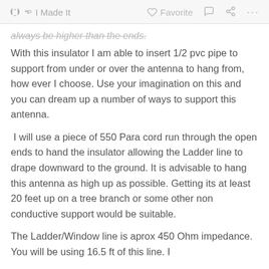I Made It   Favorite   ...
always be higher than the ends.
With this insulator I am able to insert 1/2 pvc pipe to support from under or over the antenna to hang from, how ever I choose. Use your imagination on this and you can dream up a number of ways to support this antenna.
I will use a piece of 550 Para cord run through the open ends to hand the insulator allowing the Ladder line to drape downward to the ground. It is advisable to hang this antenna as high up as possible. Getting its at least 20 feet up on a tree branch or some other non conductive support would be suitable.
The Ladder/Window line is aprox 450 Ohm impedance. You will be using 16.5 ft of this line. I